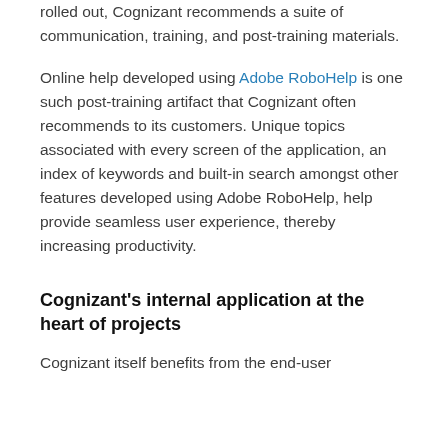embraces any new application/system that is being rolled out, Cognizant recommends a suite of communication, training, and post-training materials.
Online help developed using Adobe RoboHelp is one such post-training artifact that Cognizant often recommends to its customers. Unique topics associated with every screen of the application, an index of keywords and built-in search amongst other features developed using Adobe RoboHelp, help provide seamless user experience, thereby increasing productivity.
Cognizant's internal application at the heart of projects
Cognizant itself benefits from the end-user documentation created for projects and...